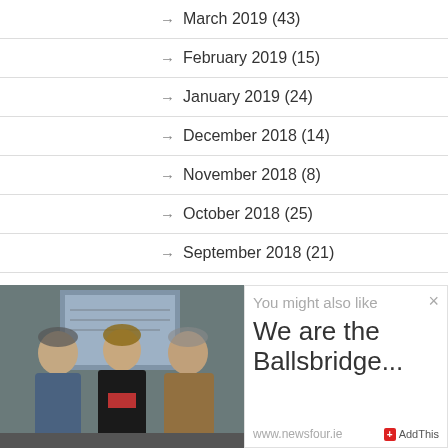→ March 2019 (43)
→ February 2019 (15)
→ January 2019 (24)
→ December 2018 (14)
→ November 2018 (8)
→ October 2018 (25)
→ September 2018 (21)
→ August 2018 (23)
→ July 2018 (10)
[Figure (photo): Three people standing together indoors in front of a blue poster/notice board]
You might also like
We are the Ballsbridge...
www.newsfour.ie  AddThis